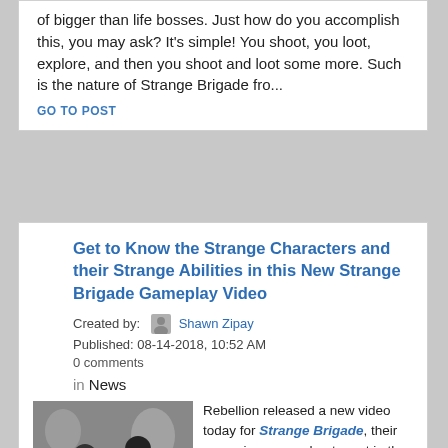of bigger than life bosses. Just how do you accomplish this, you may ask? It's simple! You shoot, you loot, explore, and then you shoot and loot some more. Such is the nature of Strange Brigade fro...
GO TO POST
Get to Know the Strange Characters and their Strange Abilities in this New Strange Brigade Gameplay Video
Created by: Shawn Zipay
Published: 08-14-2018, 10:52 AM
0 comments
in News
[Figure (photo): Black and white photo of people gathered around a table in what appears to be a 1930s setting]
Rebellion released a new video today for Strange Brigade, their upcoming co-op shooter set in the forgotten era that is the 1930s. This video does feature a look at gameplay for Strange Brigade